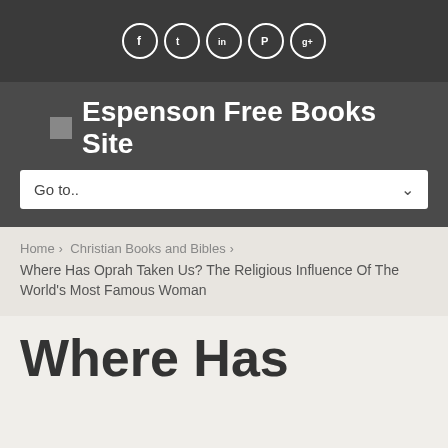[Figure (other): Social media icon buttons row: Facebook, Twitter, LinkedIn, Pinterest, Google+ — white circle icons on dark gray background]
Espenson Free Books Site
Go to..
Home > Christian Books and Bibles > Where Has Oprah Taken Us? The Religious Influence Of The World's Most Famous Woman
Where Has